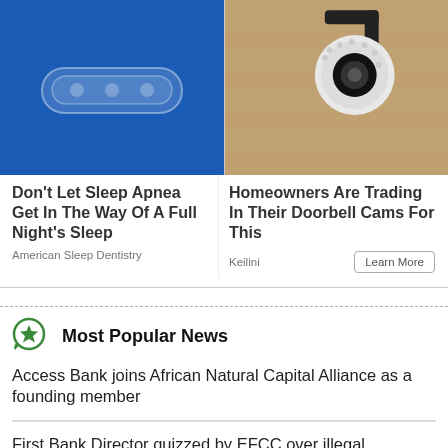[Figure (photo): Close-up photo of dental/sleep apnea device on blue background]
[Figure (photo): Security camera mounted on stone/brick wall]
Don't Let Sleep Apnea Get In The Way Of A Full Night's Sleep
American Sleep Dentistry
Homeowners Are Trading In Their Doorbell Cams For This
Keilini
Most Popular News
Access Bank joins African Natural Capital Alliance as a founding member
First Bank Director quizzed by EFCC over illegal transactions